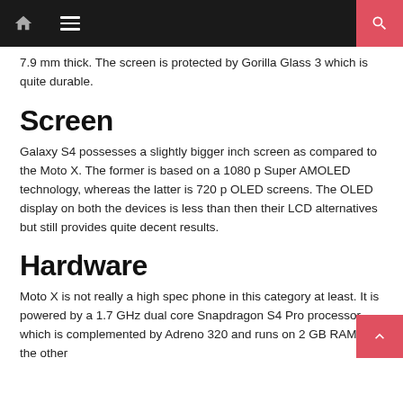[Navigation bar with home, menu, and search icons]
7.9 mm thick. The screen is protected by Gorilla Glass 3 which is quite durable.
Screen
Galaxy S4 possesses a slightly bigger inch screen as compared to the Moto X. The former is based on a 1080 p Super AMOLED technology, whereas the latter is 720 p OLED screens. The OLED display on both the devices is less than then their LCD alternatives but still provides quite decent results.
Hardware
Moto X is not really a high spec phone in this category at least. It is powered by a 1.7 GHz dual core Snapdragon S4 Pro processor which is complemented by Adreno 320 and runs on 2 GB RAM. On the other